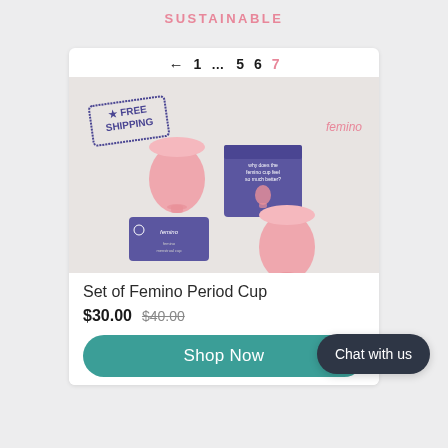SUSTAINABLE
[Figure (photo): Product image showing Femino menstrual cup bundle - two pink cups and two purple boxes with FREE SHIPPING stamp. Contains pagination navigation (← 1 … 5 6 7) and '2-Cup Bundle Discount' label at bottom.]
Set of Femino Period Cup
$30.00 $40.00
Shop Now
Chat with us